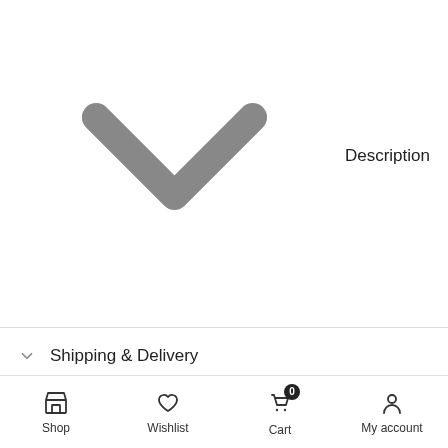Description
Shipping & Delivery
Returns & Cancellations
Wooden Dining Table for 4 to 6，Rectangular Dining Room Table MKJLWO Wood Kitchen Table Rustic Farmhouse Dinner Table Restaurant Tables，Walnut
★★★★★
$320.98  $228.98
Shop  Wishlist  Cart 0  My account